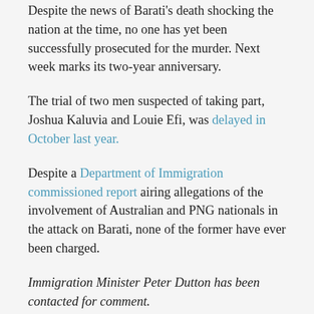Despite the news of Barati's death shocking the nation at the time, no one has yet been successfully prosecuted for the murder. Next week marks its two-year anniversary.
The trial of two men suspected of taking part, Joshua Kaluvia and Louie Efi, was delayed in October last year.
Despite a Department of Immigration commissioned report airing allegations of the involvement of Australian and PNG nationals in the attack on Barati, none of the former have ever been charged.
Immigration Minister Peter Dutton has been contacted for comment.